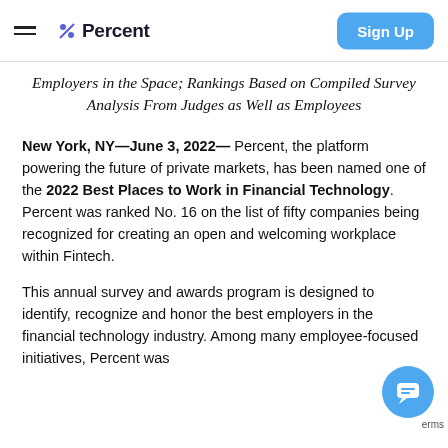Percent — Sign Up
Employers in the Space; Rankings Based on Compiled Survey Analysis From Judges as Well as Employees
New York, NY—June 3, 2022— Percent, the platform powering the future of private markets, has been named one of the 2022 Best Places to Work in Financial Technology. Percent was ranked No. 16 on the list of fifty companies being recognized for creating an open and welcoming workplace within Fintech.
This annual survey and awards program is designed to identify, recognize and honor the best employers in the financial technology industry. Among many employee-focused initiatives, Percent was